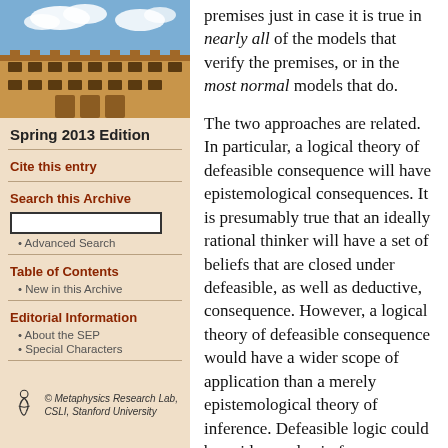[Figure (photo): Photograph of a university building (stone architecture) with blue sky and clouds]
Spring 2013 Edition
Cite this entry
Search this Archive
• Advanced Search
Table of Contents
• New in this Archive
Editorial Information
• About the SEP
• Special Characters
[Figure (logo): Metaphysics Research Lab, CSLI, Stanford University logo with stylized figure]
premises just in case it is true in nearly all of the models that verify the premises, or in the most normal models that do.

The two approaches are related. In particular, a logical theory of defeasible consequence will have epistemological consequences. It is presumably true that an ideally rational thinker will have a set of beliefs that are closed under defeasible, as well as deductive, consequence. However, a logical theory of defeasible consequence would have a wider scope of application than a merely epistemological theory of inference. Defeasible logic could be evidence also in f